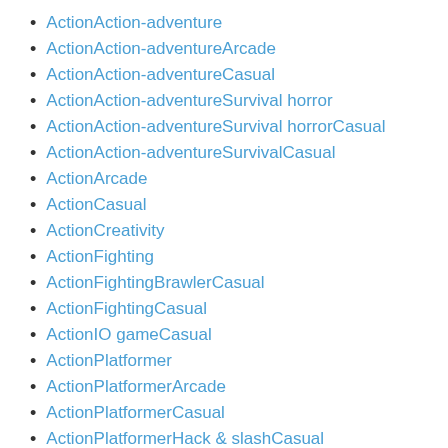ActionAction-adventure
ActionAction-adventureArcade
ActionAction-adventureCasual
ActionAction-adventureSurvival horror
ActionAction-adventureSurvival horrorCasual
ActionAction-adventureSurvivalCasual
ActionArcade
ActionCasual
ActionCreativity
ActionFighting
ActionFightingBrawlerCasual
ActionFightingCasual
ActionIO gameCasual
ActionPlatformer
ActionPlatformerArcade
ActionPlatformerCasual
ActionPlatformerHack & slashCasual
ActionPlatformerRun & gunCasual